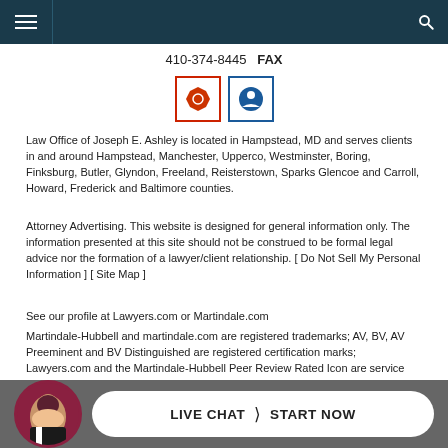Navigation bar with hamburger menu and search icon
410-374-8445  FAX
[Figure (logo): Two rating badge icons — red-bordered octagon badge and blue-bordered medallion badge]
Law Office of Joseph E. Ashley is located in Hampstead, MD and serves clients in and around Hampstead, Manchester, Upperco, Westminster, Boring, Finksburg, Butler, Glyndon, Freeland, Reisterstown, Sparks Glencoe and Carroll, Howard, Frederick and Baltimore counties.
Attorney Advertising. This website is designed for general information only. The information presented at this site should not be construed to be formal legal advice nor the formation of a lawyer/client relationship. [ Do Not Sell My Personal Information ] [ Site Map ]
See our profile at Lawyers.com or Martindale.com
Martindale-Hubbell and martindale.com are registered trademarks; AV, BV, AV Preeminent and BV Distinguished are registered certification marks; Lawyers.com and the Martindale-Hubbell Peer Review Rated Icon are service marks; and Martindale-Hubbell Peer Review Ratings are trademarks of MH Sub I, LLC, used under license. Other products and services may be trademarks or registered trademarks of their respective companies. Copyright © 2022 MH Sub I, LLC. All rights reserved.
[Figure (photo): Live chat button with woman avatar photo and LIVE CHAT > START NOW text on dark grey bar]